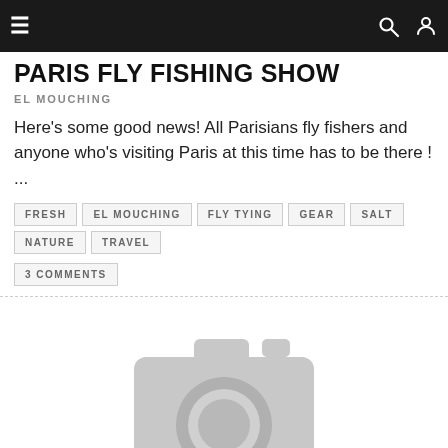☰  🔍  👤
PARIS FLY FISHING SHOW
EL MOUCHING
Here's some good news! All Parisians fly fishers and anyone who's visiting Paris at this time has to be there ! ...
FRESH
EL MOUCHING
FLY TYING
GEAR
SALT
NATURE
TRAVEL
3 COMMENTS
[Figure (illustration): Gray placeholder camera icon indicating a missing or loading image]